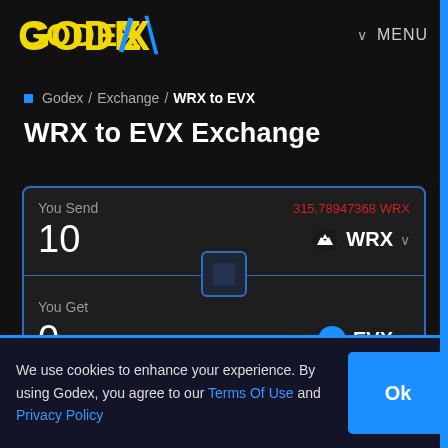[Figure (logo): GODEX logo with yellow text and blue X slash]
MENU
Godex / Exchange / WRX to EVX
WRX to EVX Exchange
You Send
315,78947368 WRX
10
WRX
You Get
0
EVX
We use cookies to enhance your experience. By using Godex, you agree to our Terms Of Use and Privacy Policy